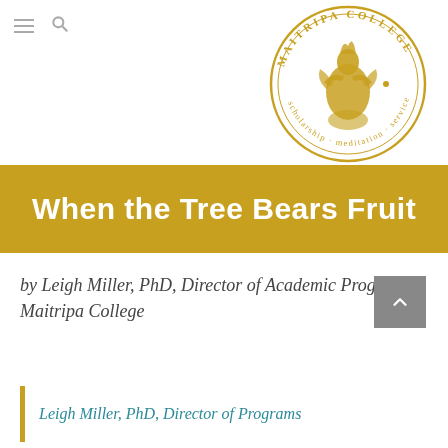[Figure (logo): Maitripa College circular seal/logo in gold — depicts a mythological figure, with text 'MAITRIPA COLLEGE' around the top and 'scholarship · meditation · service' around the bottom]
When the Tree Bears Fruit
by Leigh Miller, PhD, Director of Academic Programs, Maitripa College
Leigh Miller, PhD, Director of Programs